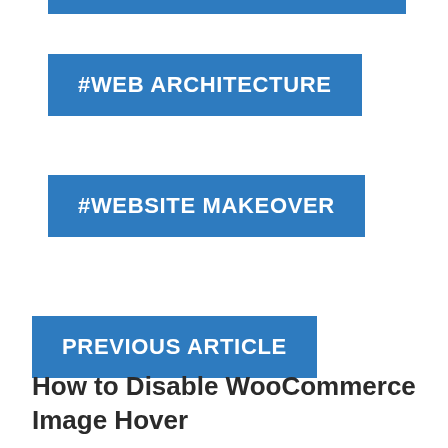#WEB ARCHITECTURE
#WEBSITE MAKEOVER
PREVIOUS ARTICLE
How to Disable WooCommerce Image Hover